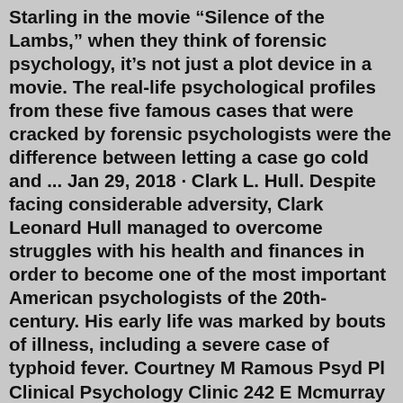Starling in the movie “Silence of the Lambs,” when they think of forensic psychology, it’s not just a plot device in a movie. The real-life psychological profiles from these five famous cases that were cracked by forensic psychologists were the difference between letting a case go cold and ... Jan 29, 2018 · Clark L. Hull. Despite facing considerable adversity, Clark Leonard Hull managed to overcome struggles with his health and finances in order to become one of the most important American psychologists of the 20th-century. His early life was marked by bouts of illness, including a severe case of typhoid fever. Courtney M Ramous Psyd Pl Clinical Psychology Clinic 242 E Mcmurray Rd, Mc Murray, PA - 15317 412-276-2307 727-489-1839 Crystal Ramos, PsyD, HSPP. Co-Owner. I am a licensed psychologist and a fellowship-trained neuropsychologist. After completing my fellowship in clinical neuropsychology at Indiana University School of Medicine in 2012, I started my practice at Neuropsychology Associates where I am now co-owner. My work primarily includes